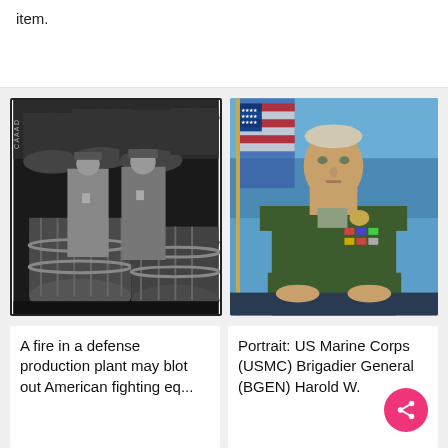item.
[Figure (photo): Black and white photo of two uniformed officers standing in front of stacked industrial barrels or drums in a warehouse.]
[Figure (photo): Color portrait of a US Marine Corps Brigadier General in green dress uniform with medals and ribbons, American flag in background.]
A fire in a defense production plant may blot out American fighting eq...
Portrait: US Marine Corps (USMC) Brigadier General (BGEN) Harold W.